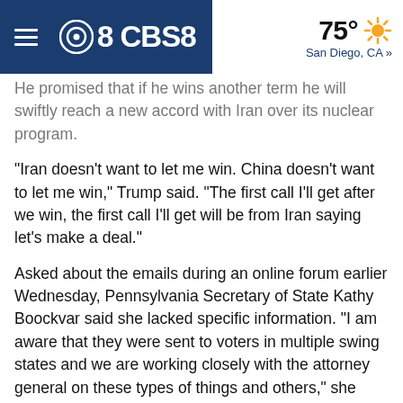CBS8 | 75° San Diego, CA »
He promised that if he wins another term he will swiftly reach a new accord with Iran over its nuclear program.
“Iran doesn’t want to let me win. China doesn’t want to let me win,” Trump said. “The first call I’ll get after we win, the first call I’ll get will be from Iran saying let’s make a deal.”
Asked about the emails during an online forum earlier Wednesday, Pennsylvania Secretary of State Kathy Boockvar said she lacked specific information. “I am aware that they were sent to voters in multiple swing states and we are working closely with the attorney general on these types of things and others,” she said.
While state-backed Russian hackers are known to have infiltrated U.S. election infrastructure in 2016, there is no evidence that Iran has ever done so, and it was not clear how officials were able to identify Iran so quickly.